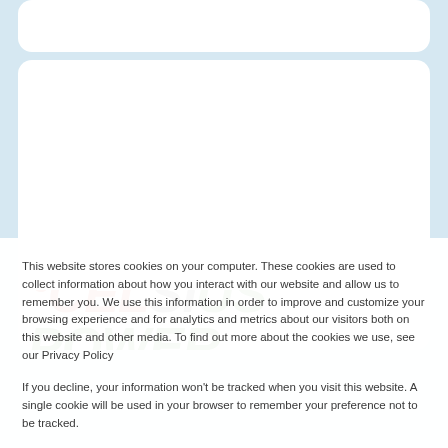[Figure (logo): Partial website screenshot showing two UI cards on a light blue background. The lower card displays a partially cropped logo with red and green text reading 'celsius power' or similar brand name in large bold italic letters.]
This website stores cookies on your computer. These cookies are used to collect information about how you interact with our website and allow us to remember you. We use this information in order to improve and customize your browsing experience and for analytics and metrics about our visitors both on this website and other media. To find out more about the cookies we use, see our Privacy Policy
If you decline, your information won't be tracked when you visit this website. A single cookie will be used in your browser to remember your preference not to be tracked.